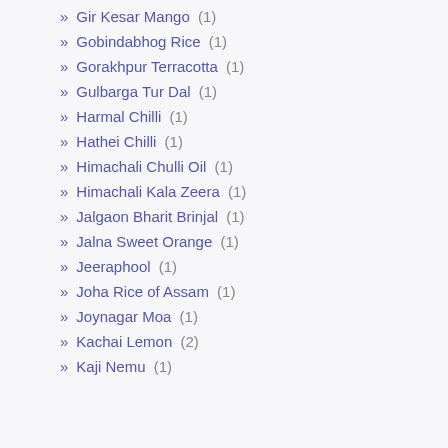Gir Kesar Mango (1)
Gobindabhog Rice (1)
Gorakhpur Terracotta (1)
Gulbarga Tur Dal (1)
Harmal Chilli (1)
Hathei Chilli (1)
Himachali Chulli Oil (1)
Himachali Kala Zeera (1)
Jalgaon Bharit Brinjal (1)
Jalna Sweet Orange (1)
Jeeraphool (1)
Joha Rice of Assam (1)
Joynagar Moa (1)
Kachai Lemon (2)
Kaji Nemu (1)